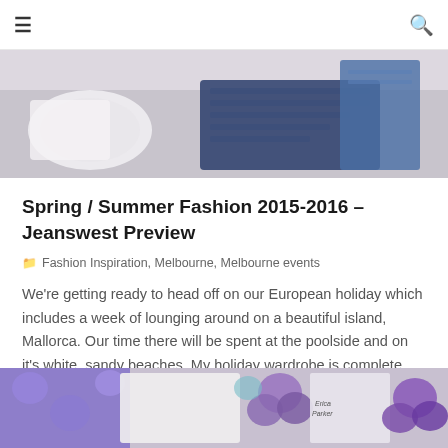≡  🔍
[Figure (photo): Top cropped photo showing a desk or table scene with white plates, a keyboard and notebook in blue/navy tones on a light lavender/white background]
Spring / Summer Fashion 2015-2016 – Jeanswest Preview
Fashion Inspiration, Melbourne, Melbourne events
We're getting ready to head off on our European holiday which includes a week of lounging around on a beautiful island, Mallorca. Our time there will be spent at the poolside and on it's white, sandy beaches. My holiday wardrobe is complete, thanks to Jeanswes…
[Figure (photo): Bottom photo showing purple/lavender floral fabric, packaging items, purple flower decorations, and an Erica Parker branded card/booklet with a woman in a dress]